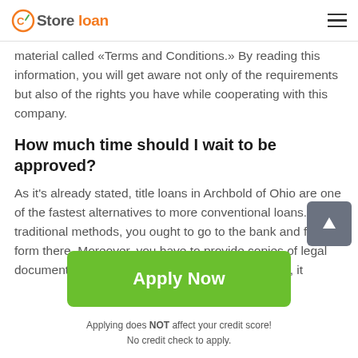Store loan
material called «Terms and Conditions.» By reading this information, you will get aware not only of the requirements but also of the rights you have while cooperating with this company.
How much time should I wait to be approved?
As it's already stated, title loans in Archbold of Ohio are one of the fastest alternatives to more conventional loans. With traditional methods, you ought to go to the bank and fill the form there. Moreover, you have to provide copies of legal documents to prove the data in the application. So, it
Apply Now
Applying does NOT affect your credit score!
No credit check to apply.